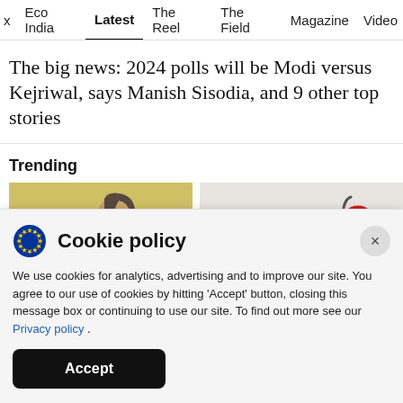x  Eco India  Latest  The Reel  The Field  Magazine  Video
The big news: 2024 polls will be Modi versus Kejriwal, says Manish Sisodia, and 9 other top stories
Trending
[Figure (photo): Trending image 1: historical painting of a woman in profile view with dark hair covering]
[Figure (photo): Trending image 2: person in white coat holding a stethoscope]
Cookie policy
We use cookies for analytics, advertising and to improve our site. You agree to our use of cookies by hitting ‘Accept’ button, closing this message box or continuing to use our site. To find out more see our Privacy policy .
Accept